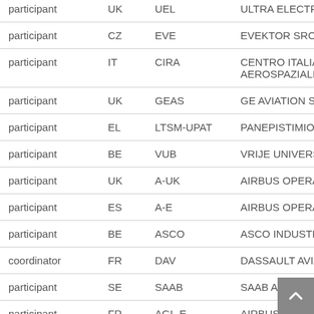| Role | Country | Abbreviation | Name |
| --- | --- | --- | --- |
| participant | UK | UEL | ULTRA ELECTRONI... |
| participant | CZ | EVE | EVEKTOR SRO (PRO... |
| participant | IT | CIRA | CENTRO ITALIANO AEROSPAZIALI SCP... |
| participant | UK | GEAS | GE AVIATION SYST... |
| participant | EL | LTSM-UPAT | PANEPISTIMIO PAT... |
| participant | BE | VUB | VRIJE UNIVERSITEIT... |
| participant | UK | A-UK | AIRBUS OPERATIO... |
| participant | ES | A-E | AIRBUS OPERATIO... |
| participant | BE | ASCO | ASCO INDUSTRIES ... |
| coordinator | FR | DAV | DASSAULT AVIATIO... |
| participant | SE | SAAB | SAAB AKTIEBOLAG |
| participant | FR | AGI-E | AIRBUS (PRO... |